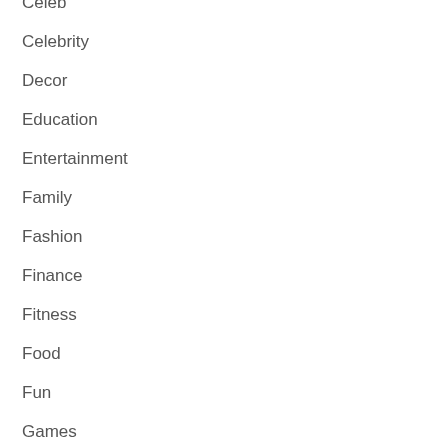Celeb
Celebrity
Decor
Education
Entertainment
Family
Fashion
Finance
Fitness
Food
Fun
Games
Grooming
Health
Home